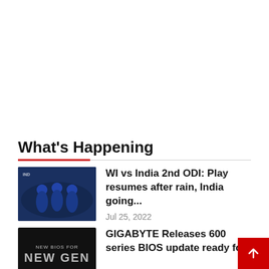What's Happening
WI vs India 2nd ODI: Play resumes after rain, India going...
Jul 25, 2022
GIGABYTE Releases 600 series BIOS update ready for